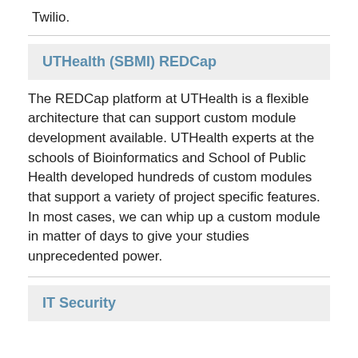Twilio.
UTHealth (SBMI) REDCap
The REDCap platform at UTHealth is a flexible architecture that can support custom module development available. UTHealth experts at the schools of Bioinformatics and School of Public Health developed hundreds of custom modules that support a variety of project specific features. In most cases, we can whip up a custom module in matter of days to give your studies unprecedented power.
IT Security